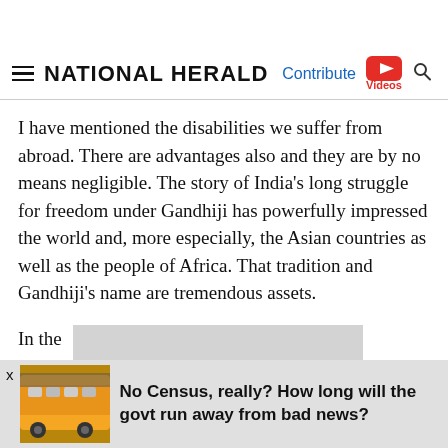NATIONAL HERALD
I have mentioned the disabilities we suffer from abroad. There are advantages also and they are by no means negligible. The story of India's long struggle for freedom under Gandhiji has powerfully impressed the world and, more especially, the Asian countries as well as the people of Africa. That tradition and Gandhiji's name are tremendous assets.
In the ... stood for ce... in technique an... f that, they
No Census, really? How long will the govt run away from bad news?